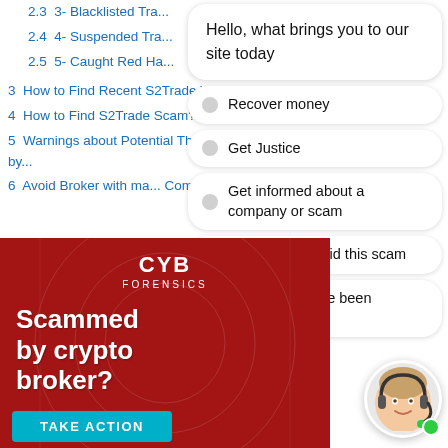2.3  3- Blacklisted Tra...
2.4  4- Suspended Tra...
2.5  5- Caught Red Ha...
3  How to Find Recent S2Trade Warning?
4  How to Find S2Trade Scam?
5  Warnings about Potential Threats by...
6  Avoid Broker with ma... Complaints
Hello, what brings you to our site today
Recover money
Get Justice
Get informed about a company or scam
Help others avoid this scam
Find out if I have been scammed
[Figure (screenshot): Ad banner for CYB FORENSICS with red background, showing 'Scammed by crypto broker?' text, TAKE ACTION button, and customer support avatar with headset and green online indicator dot.]